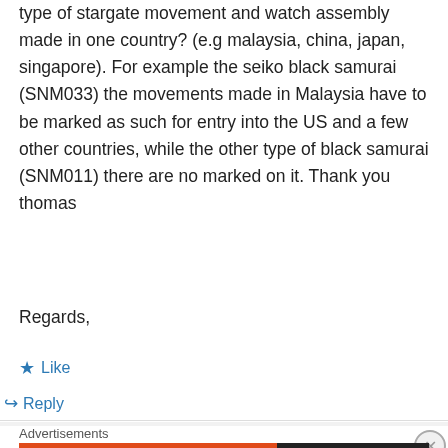type of stargate movement and watch assembly made in one country? (e.g malaysia, china, japan, singapore). For example the seiko black samurai (SNM033) the movements made in Malaysia have to be marked as such for entry into the US and a few other countries, while the other type of black samurai (SNM011) there are no marked on it. Thank you thomas
Regards,
★ Like
↪ Reply
Advertisements
[Figure (other): DuckDuckGo advertisement banner: orange left panel reading 'Search, browse, and email with more privacy. All in One Free App', dark right panel with DuckDuckGo duck logo and brand name.]